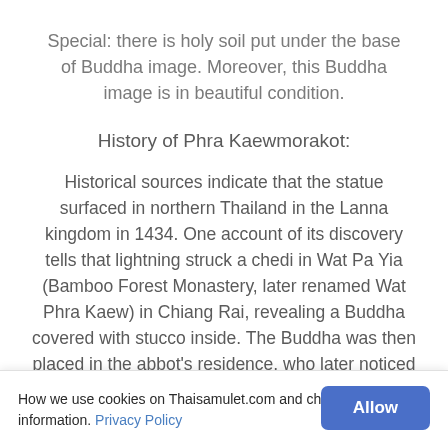Special: there is holy soil put under the base of Buddha image. Moreover, this Buddha image is in beautiful condition.
History of Phra Kaewmorakot:
Historical sources indicate that the statue surfaced in northern Thailand in the Lanna kingdom in 1434. One account of its discovery tells that lightning struck a chedi in Wat Pa Yia (Bamboo Forest Monastery, later renamed Wat Phra Kaew) in Chiang Rai, revealing a Buddha covered with stucco inside. The Buddha was then placed in the abbot's residence, who later noticed that stucco on the nose had flaked off, revealing a
How we use cookies on Thaisamulet.com and check more information. Privacy Policy